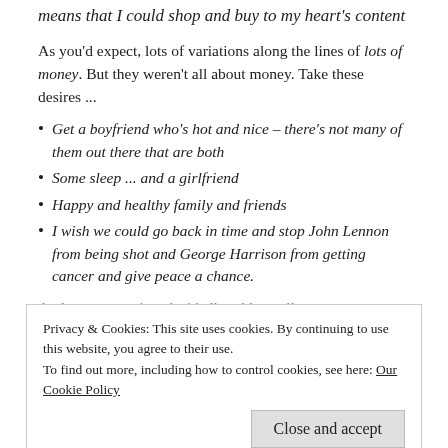means that I could shop and buy to my heart's content
As you'd expect, lots of variations along the lines of lots of money. But they weren't all about money. Take these desires ...
Get a boyfriend who's hot and nice – there's not many of them out there that are both
Some sleep ... and a girlfriend
Happy and healthy family and friends
I wish we could go back in time and stop John Lennon from being shot and George Harrison from getting cancer and give peace a chance.
And some were just decidedly odd – well, to me, at any rate
Privacy & Cookies: This site uses cookies. By continuing to use this website, you agree to their use.
To find out more, including how to control cookies, see here: Our Cookie Policy
And then somewhere among all the answers was one that